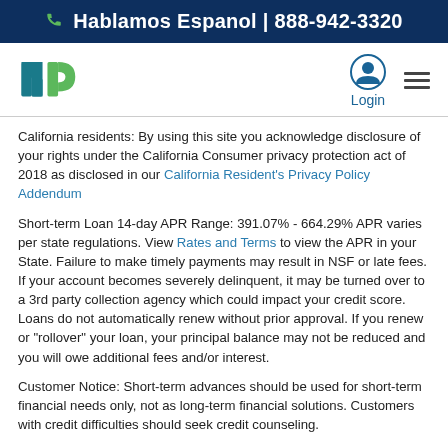☎ Hablamos Espanol | 888-942-3320
[Figure (logo): NP logo with teal and green stylized letters]
California residents: By using this site you acknowledge disclosure of your rights under the California Consumer privacy protection act of 2018 as disclosed in our California Resident's Privacy Policy Addendum
Short-term Loan 14-day APR Range: 391.07% - 664.29% APR varies per state regulations. View Rates and Terms to view the APR in your State. Failure to make timely payments may result in NSF or late fees. If your account becomes severely delinquent, it may be turned over to a 3rd party collection agency which could impact your credit score. Loans do not automatically renew without prior approval. If you renew or "rollover" your loan, your principal balance may not be reduced and you will owe additional fees and/or interest.
Customer Notice: Short-term advances should be used for short-term financial needs only, not as long-term financial solutions. Customers with credit difficulties should seek credit counseling.